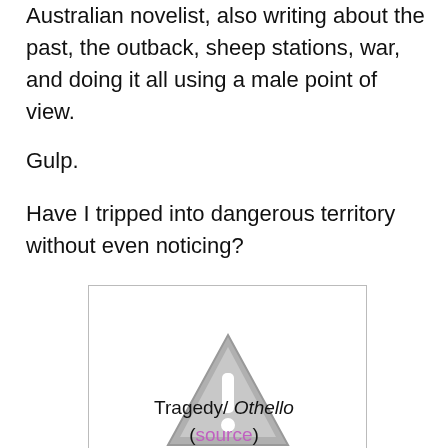Australian novelist, also writing about the past, the outback, sheep stations, war, and doing it all using a male point of view.
Gulp.
Have I tripped into dangerous territory without even noticing?
[Figure (illustration): A grey warning/caution triangle icon with an exclamation mark, inside a light grey bordered rectangle placeholder image.]
Tragedy/ Othello
(source)